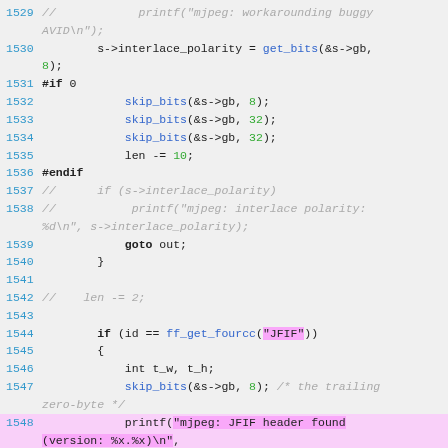[Figure (screenshot): Source code listing lines 1529-1548 of a C file showing MJPEG/JFIF video decoder code with syntax highlighting. Line numbers in blue, function calls in blue, numeric literals in green, string literals highlighted in pink, comments in gray italic.]